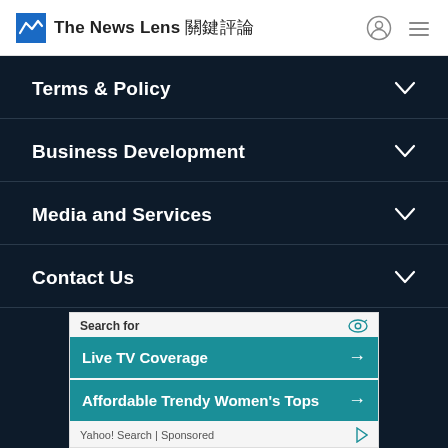The News Lens 關鍵評論
Terms & Policy
Business Development
Media and Services
Contact Us
[Figure (screenshot): Advertisement banner: Search for Live TV Coverage and Affordable Trendy Women's Tops, Yahoo! Search Sponsored]
Yahoo! Search | Sponsored